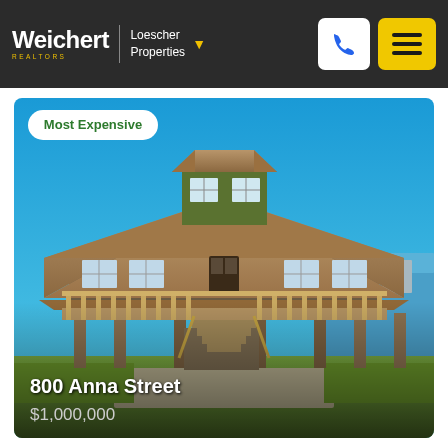[Figure (logo): Weichert Realtors Loescher Properties logo in white on dark header bar]
[Figure (photo): Exterior photo of a large elevated beach/lake house at 800 Anna Street with wrap-around deck, two-story structure with hip roof, wooden pilings, staircase entry, blue sky background, water visible on right side. Badge reads 'Most Expensive'. Address: 800 Anna Street, Price: $1,000,000.]